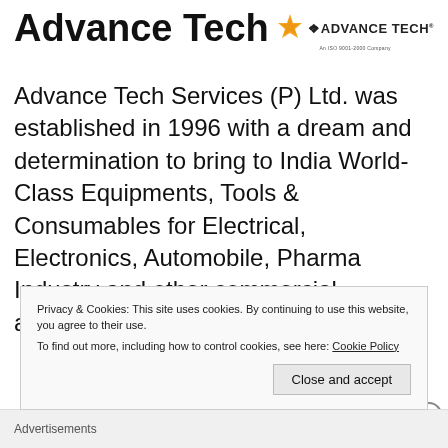Advance Tech
[Figure (logo): Advance Tech logo with orange diamond star icon and text 'ADVANCE TECH', subtext 'An ISO 9001-2000 Company']
Advance Tech Services (P) Ltd. was established in 1996 with a dream and determination to bring to India World-Class Equipments, Tools & Consumables for Electrical, Electronics, Automobile, Pharma Industry and other commercial applications, including Electronic
Privacy & Cookies: This site uses cookies. By continuing to use this website, you agree to their use.
To find out more, including how to control cookies, see here: Cookie Policy
Close and accept
Advertisements